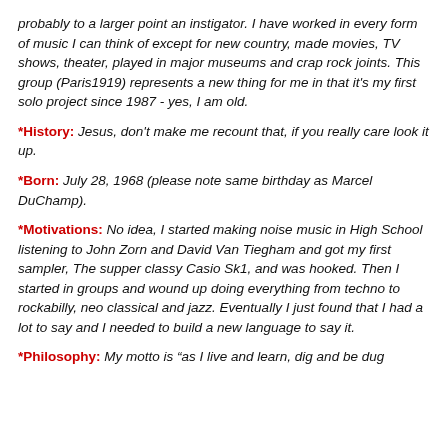probably to a larger point an instigator. I have worked in every form of music I can think of except for new country, made movies, TV shows, theater, played in major museums and crap rock joints. This group (Paris1919) represents a new thing for me in that it's my first solo project since 1987 - yes, I am old.
*History: Jesus, don't make me recount that, if you really care look it up.
*Born: July 28, 1968 (please note same birthday as Marcel DuChamp).
*Motivations: No idea, I started making noise music in High School listening to John Zorn and David Van Tiegham and got my first sampler, The supper classy Casio Sk1, and was hooked. Then I started in groups and wound up doing everything from techno to rockabilly, neo classical and jazz. Eventually I just found that I had a lot to say and I needed to build a new language to say it.
*Philosophy: My motto is "as I live and learn, dig and be dug